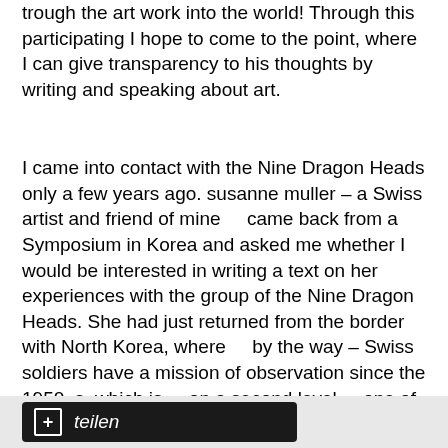trough the art work into the world! Through this participating I hope to come to the point, where I can give transparency to his thoughts by writing and speaking about art.
I came into contact with the Nine Dragon Heads only a few years ago. susanne muller – a Swiss artist and friend of mine    came back from a Symposium in Korea and asked me whether I would be interested in writing a text on her experiences with the group of the Nine Dragon Heads. She had just returned from the border with North Korea, where    by the way – Swiss soldiers have a mission of observation since the 1950  s, which is    on a second level    one of the reasons South Korea and Switzerland have a good
+ teilen